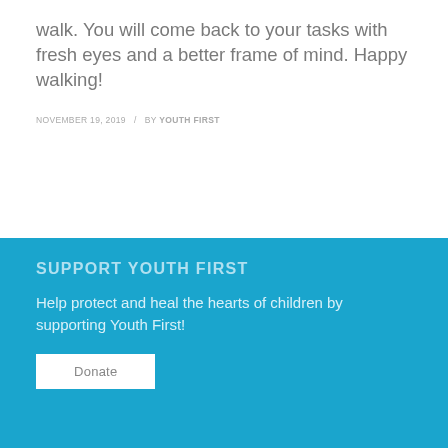walk. You will come back to your tasks with fresh eyes and a better frame of mind. Happy walking!
NOVEMBER 19, 2019  /  BY YOUTH FIRST
SUPPORT YOUTH FIRST
Help protect and heal the hearts of children by supporting Youth First!
Donate